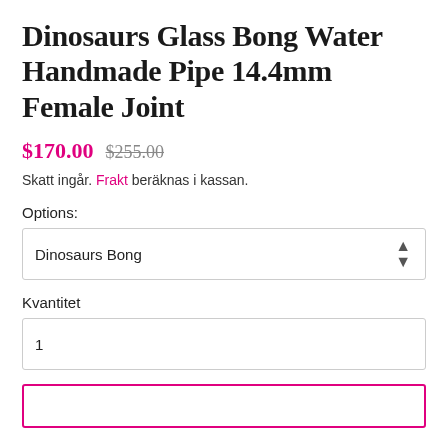Dinosaurs Glass Bong Water Handmade Pipe 14.4mm Female Joint
$170.00  $255.00
Skatt ingår. Frakt beräknas i kassan.
Options:
Dinosaurs Bong
Kvantitet
1